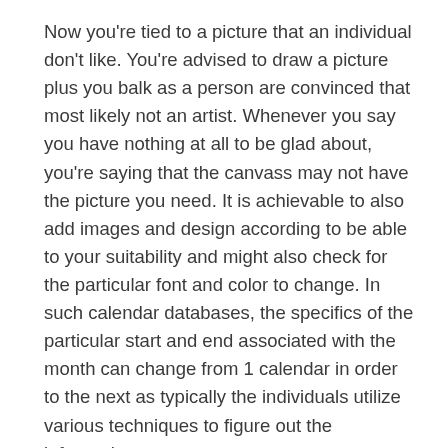Now you're tied to a picture that an individual don't like. You're advised to draw a picture plus you balk as a person are convinced that most likely not an artist. Whenever you say you have nothing at all to be glad about, you're saying that the canvass may not have the picture you need. It is achievable to also add images and design according to be able to your suitability and might also check for the particular font and color to change. In such calendar databases, the specifics of the particular start and end associated with the month can change from 1 calendar in order to the next as typically the individuals utilize various techniques to figure out the information.